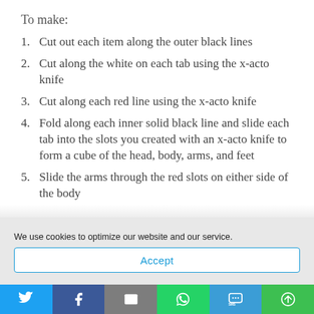To make:
1. Cut out each item along the outer black lines
2. Cut along the white on each tab using the x-acto knife
3. Cut along each red line using the x-acto knife
4. Fold along each inner solid black line and slide each tab into the slots you created with an x-acto knife to form a cube of the head, body, arms, and feet
5. Slide the arms through the red slots on either side of the [body...]
We use cookies to optimize our website and our service.
Accept